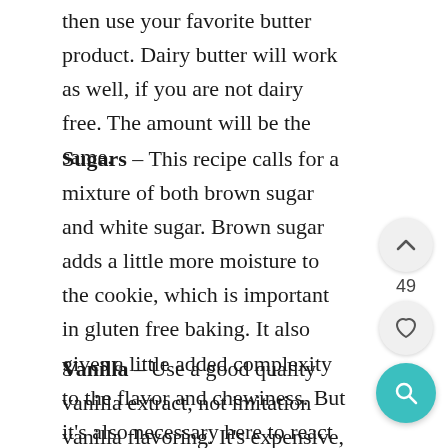then use your favorite butter product. Dairy butter will work as well, if you are not dairy free. The amount will be the same.
Sugars – This recipe calls for a mixture of both brown sugar and white sugar. Brown sugar adds a little more moisture to the cookie, which is important in gluten free baking. It also gives a little added complexity to the flavor and chewiness. But it's also necessary here to react with the baking soda.
Vanilla – Use a good quality vanilla extract, not imitation vanilla flavoring. It's expensive, but so worth it.